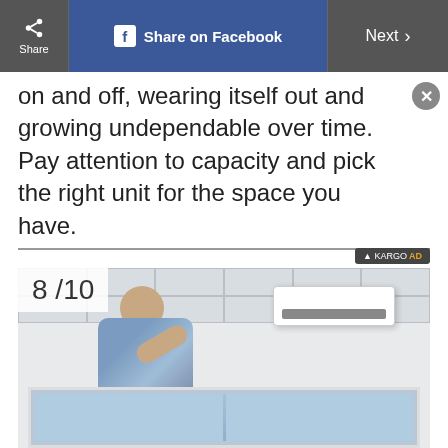Share | Share on Facebook | Next >
on and off, wearing itself out and growing undependable over time. Pay attention to capacity and pick the right unit for the space you have.
[Figure (photo): A man in a plaid shirt reaching up to service or install a wall-mounted mini-split air conditioning unit near the ceiling of a room. Slide 8/10.]